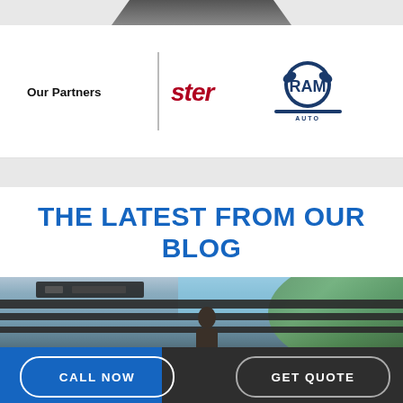[Figure (photo): Top partial view of a building with dark geometric architectural elements on a gray background]
Our Partners
[Figure (logo): Ster logo in dark red italic text, partially cropped]
[Figure (logo): Ram Automotive logo with blue ram mascot, partially cropped]
THE LATEST FROM OUR BLOG
[Figure (photo): Photo of a man near a fence or trailer with trees and blue sky in background]
CALL NOW
GET QUOTE